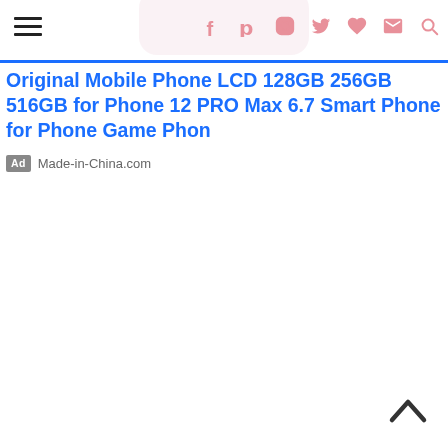Navigation bar with hamburger menu, social icons (Facebook, Pinterest, Instagram, Twitter, heart, mail, search), and partial product image
Original Mobile Phone LCD 128GB 256GB 516GB for Phone 12 PRO Max 6.7 Smart Phone for Phone Game Phon
Ad  Made-in-China.com